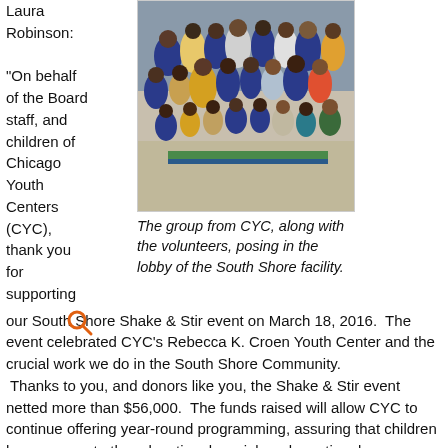Laura Robinson:
"On behalf of the Board staff, and children of Chicago Youth Centers (CYC), thank you for supporting our South Shore Shake & Stir event on March 18, 2016.  The event celebrated CYC's Rebecca K. Croen Youth Center and the crucial work we do in the South Shore Community.
  Thanks to you, and donors like you, the Shake & Stir event netted more than $56,000.  The funds raised will allow CYC to continue offering year-round programming, assuring that children have access to the educational, social, and emotional resources needed to succeed and persist in school, in their daily lives, and ultimately the workforce."
[Figure (photo): Group photo of children and adults posing together in the lobby of the South Shore facility]
The group from CYC, along with the volunteers, posing in the lobby of the South Shore facility.